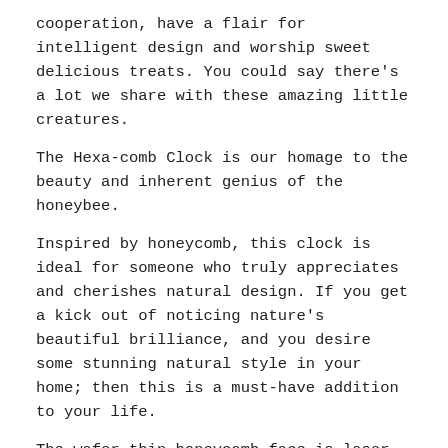cooperation, have a flair for intelligent design and worship sweet delicious treats. You could say there's a lot we share with these amazing little creatures.
The Hexa-comb Clock is our homage to the beauty and inherent genius of the honeybee.
Inspired by honeycomb, this clock is ideal for someone who truly appreciates and cherishes natural design. If you get a kick out of noticing nature's beautiful brilliance, and you desire some stunning natural style in your home; then this is a must-have addition to your life.
The wafer-thin honeycomb face is laser cut from layers of pressed bamboo with a natural finish. Despite its delicate appearance, thanks to the combination of the hexagonal structure with bamboo's extreme strength and flexibility, your Hexa-comb Clock will stand the test of time.